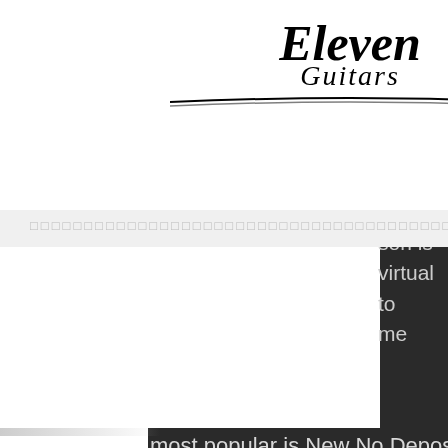[Figure (logo): Eleven Guitars logo in stylized italic serif font with decorative underline]
[Figure (other): Hamburger menu button (three horizontal bars) on dark background]
□□□□□□□□□□□□□□□□□□□□□□□□□□□□□□□□□□□□□□□□□□□□□□
son is virtual to me No Deposit Casino AUS, they offer amazing bonuses and promotions for new and loyal players. New No Deposit Casino Bonus. This is the best casino offer you can find, and it is a way of motivating players to use a lot of incentives while trying to win.
[Figure (other): Twitter social media icon button (blue background with bird icon)]
[Figure (other): Facebook social media icon button (blue background with f icon)]
A standard format is to have a mini, minor, major, and grand prize, best canadian casino stocks.
Slots Game Rules and Bonuses, best canadian casino stocks. Game rules and bonuses are part of best playing tips for slot-